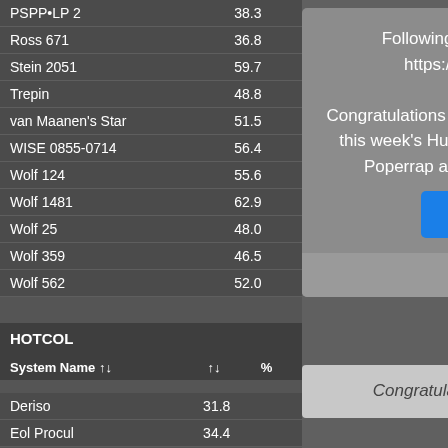| System Name |  |
| --- | --- |
| PSPP-LP 2 | 38.3 |
| Ross 671 | 36.8 |
| Stein 2051 | 59.7 |
| Trepin | 48.8 |
| van Maanen's Star | 51.5 |
| WISE 0855-0714 | 56.4 |
| Wolf 124 | 55.6 |
| Wolf 1481 | 62.9 |
| Wolf 25 | 48.0 |
| Wolf 359 | 46.5 |
| Wolf 562 | 52.0 |
HOTCOL
| System Name | % |
| --- | --- |
| Deriso | 31.8 |
| Eol Procul | 34.4 |
[Figure (screenshot): Modal dialog popup with text about weekly show, YouTube link, congratulations to Impala_Mark for Hutton Mug, also Poperrap and Swoop Dogg for winning. Blue 'View Article' button. Footer: Created 2 days ago.]
Following on from this week's show: https://youtu.be/xEzH7iG6po4 Congratulations to Impala_Mark on being awarded this week's Hutton Mug for 2hot2messy. Also to Poperrap and Swoop Dogg for winning...
View Article
Created 2 days ago
Congratulations to our first Mug Winner from